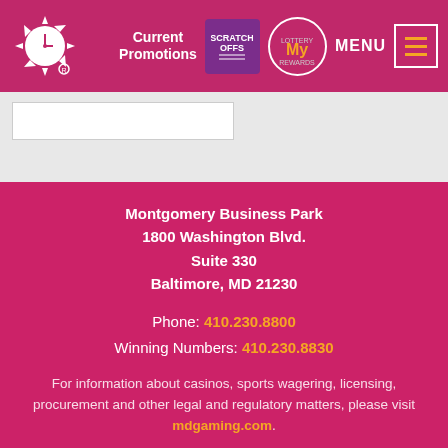Current Promotions | SCRATCH OFFS | MY Rewards | MENU
Montgomery Business Park
1800 Washington Blvd.
Suite 330
Baltimore, MD 21230
Phone: 410.230.8800
Winning Numbers: 410.230.8830
For information about casinos, sports wagering, licensing, procurement and other legal and regulatory matters, please visit mdgaming.com.
[Figure (illustration): Social media icons: Facebook, Twitter, YouTube, Instagram]
For users with low vision
or other visual disabilities: